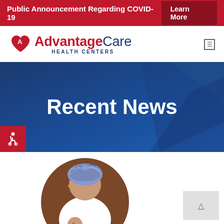Public Announcement Regarding COVID-19 | Learn More
[Figure (logo): AdvantageCare Health Centers logo with red heart and navy text]
Recent News
[Figure (illustration): Illustration of a woman with a head wrap inside a brown circle, appearing to be a breastfeeding or maternal health icon]